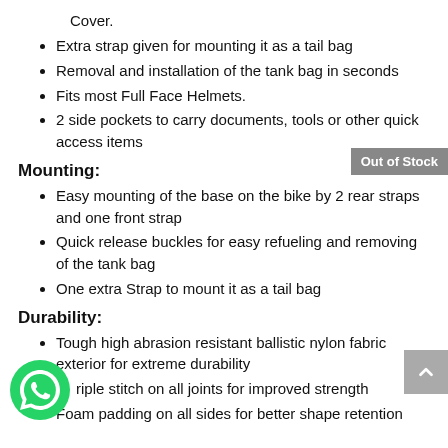Cover.
Extra strap given for mounting it as a tail bag
Removal and installation of the tank bag in seconds
Fits most Full Face Helmets.
2 side pockets to carry documents, tools or other quick access items
Mounting:
Easy mounting of the base on the bike by 2 rear straps and one front strap
Quick release buckles for easy refueling and removing of the tank bag
One extra Strap to mount it as a tail bag
Durability:
Tough high abrasion resistant ballistic nylon fabric exterior for extreme durability
Triple stitch on all joints for improved strength
Foam padding on all sides for better shape retention